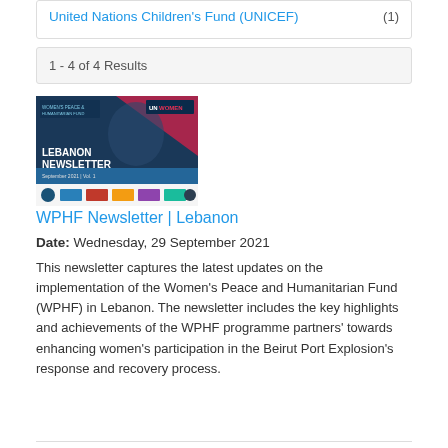United Nations Children's Fund (UNICEF)  (1)
1 - 4 of 4 Results
[Figure (photo): WPHF Lebanon Newsletter cover image showing a woman with UN Women and partner logos at bottom]
WPHF Newsletter | Lebanon
Date: Wednesday, 29 September 2021
This newsletter captures the latest updates on the implementation of the Women's Peace and Humanitarian Fund (WPHF) in Lebanon. The newsletter includes the key highlights and achievements of the WPHF programme partners' towards enhancing women's participation in the Beirut Port Explosion's response and recovery process.